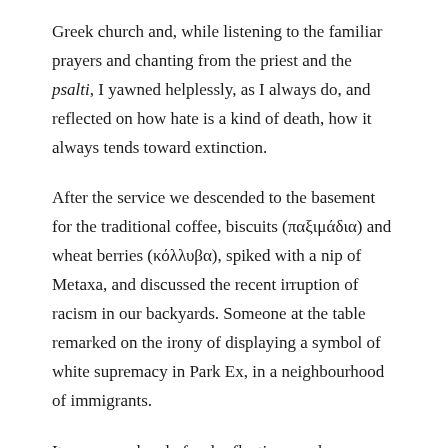Greek church and, while listening to the familiar prayers and chanting from the priest and the psalti, I yawned helplessly, as I always do, and reflected on how hate is a kind of death, how it always tends toward extinction.
After the service we descended to the basement for the traditional coffee, biscuits (παξιμάδια) and wheat berries (κόλλυβα), spiked with a nip of Metaxa, and discussed the recent irruption of racism in our backyards. Someone at the table remarked on the irony of displaying a symbol of white supremacy in Park Ex, in a neighbourhood of immigrants.
It was a weekend of sad reflection, made more poignant by the daffodils and bright sun. Somehow, something got away from us when we weren't looking. Something big happened right under our noses that we never saw coming.